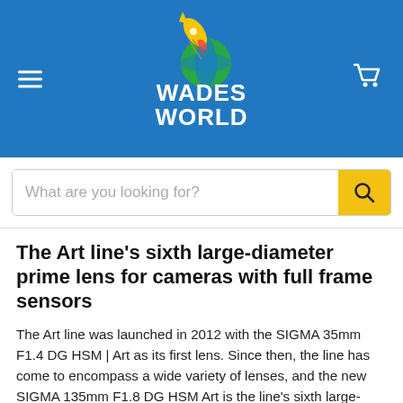Wades World
What are you looking for?
The Art line's sixth large-diameter prime lens for cameras with full frame sensors
The Art line was launched in 2012 with the SIGMA 35mm F1.4 DG HSM | Art as its first lens. Since then, the line has come to encompass a wide variety of lenses, and the new SIGMA 135mm F1.8 DG HSM Art is the line's sixth large-diameter prime for cameras with full-frame sensors. It sets a new standard for prime lenses in the ultra-high-megapixel era.